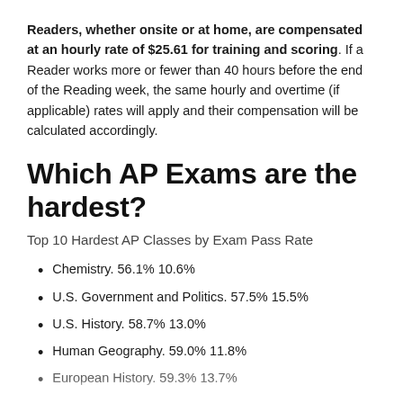Readers, whether onsite or at home, are compensated at an hourly rate of $25.61 for training and scoring. If a Reader works more or fewer than 40 hours before the end of the Reading week, the same hourly and overtime (if applicable) rates will apply and their compensation will be calculated accordingly.
Which AP Exams are the hardest?
Top 10 Hardest AP Classes by Exam Pass Rate
Chemistry. 56.1% 10.6%
U.S. Government and Politics. 57.5% 15.5%
U.S. History. 58.7% 13.0%
Human Geography. 59.0% 11.8%
European History. 59.3% 13.7%